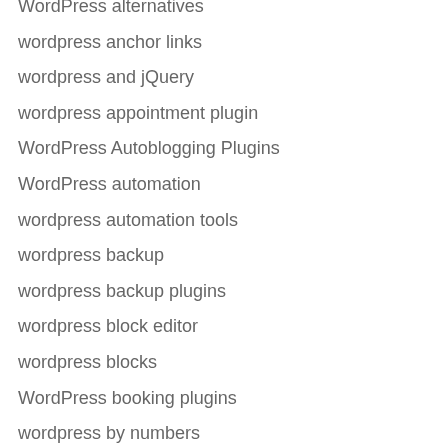WordPress alternatives
wordpress anchor links
wordpress and jQuery
wordpress appointment plugin
WordPress Autoblogging Plugins
WordPress automation
wordpress automation tools
wordpress backup
wordpress backup plugins
wordpress block editor
wordpress blocks
WordPress booking plugins
wordpress by numbers